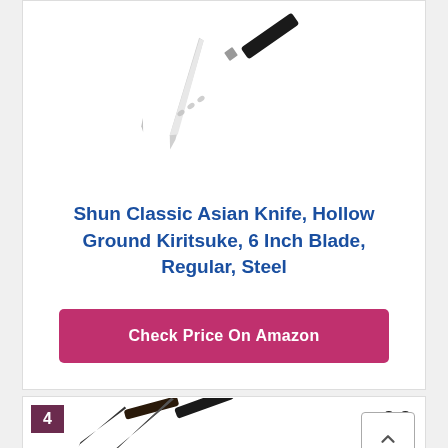[Figure (photo): A Shun Classic Asian Kiritsuke knife with black handle, shown diagonally on white background]
Shun Classic Asian Knife, Hollow Ground Kiritsuke, 6 Inch Blade, Regular, Steel
Check Price On Amazon
4
8.8
[Figure (photo): Two dark knives with black handles shown at an angle at the bottom of the page]